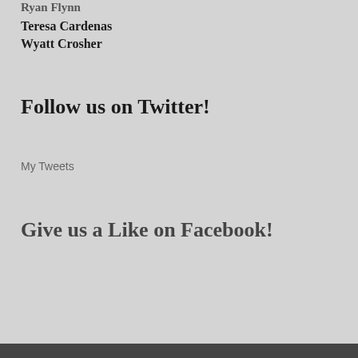Teresa Cardenas
Wyatt Crosher
Follow us on Twitter!
My Tweets
Give us a Like on Facebook!